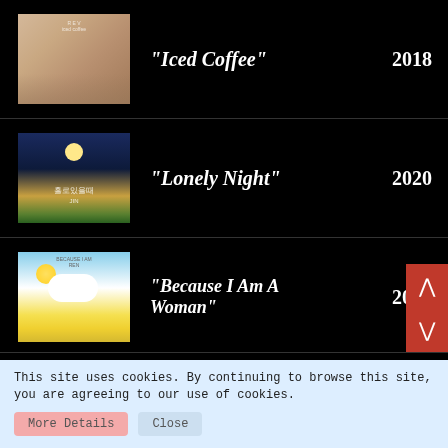[Figure (illustration): Album cover for Iced Coffee - photo of woman with long hair resting on surface, warm tones]
"Iced Coffee"   2018
[Figure (illustration): Album cover for Lonely Night - illustrated night scene with moon over water and Korean text]
"Lonely Night"   2020
[Figure (illustration): Album cover for Because I Am A Woman - illustrated sky with sun and clouds]
"Because I Am A Woman"   2021
This site uses cookies. By continuing to browse this site, you are agreeing to our use of cookies.
More Details   Close